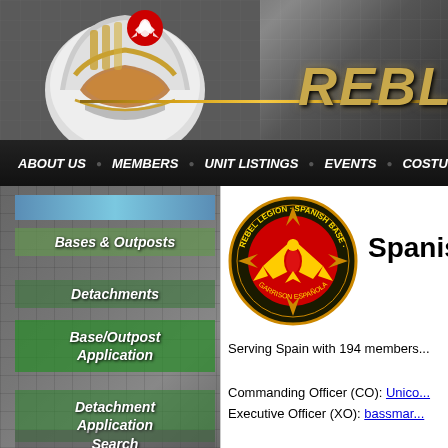[Figure (screenshot): Rebel Legion website header with Star Wars X-Wing pilot helmet illustration, Rebel Alliance logo, gold REBEL text logo, and gold decorative bar]
ABOUT US  MEMBERS  UNIT LISTINGS  EVENTS  COSTUM...
Bases & Outposts
Detachments
Base/Outpost Application
Detachment Application
Search
[Figure (logo): Rebel Legion Spanish Base circular logo with Rebel Alliance bird symbol in red and yellow on black background with text REBEL LEGION and SPANISH BASE]
Spanis...
Serving Spain with 194 members...
Commanding Officer (CO): Unicorn
Executive Officer (XO): bassmar...